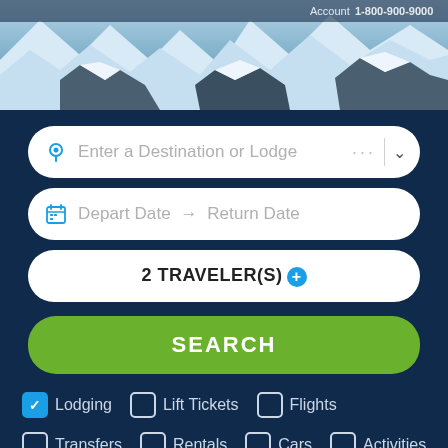[Figure (photo): Snowy mountain peaks with ski slopes, partial view of navigation bar with Account label and phone number at top]
Enter a Destination or Lodge
Depart Date → Return Date
2 TRAVELER(S)
SEARCH
Lodging (checked)
Lift Tickets (unchecked)
Flights (unchecked)
Transfers (unchecked)
Rentals (unchecked)
Cars (unchecked)
Activities (unchecked)
Ski School (unchecked)